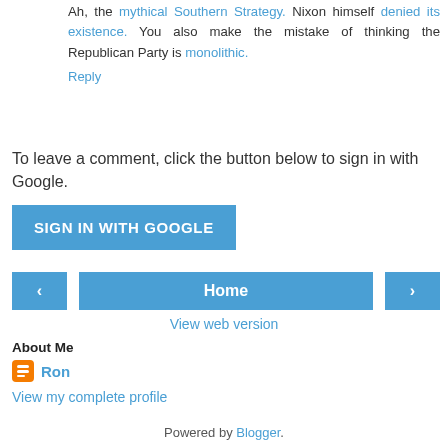Ah, the mythical Southern Strategy. Nixon himself denied its existence. You also make the mistake of thinking the Republican Party is monolithic.
Reply
To leave a comment, click the button below to sign in with Google.
[Figure (other): Blue button labeled SIGN IN WITH GOOGLE]
[Figure (other): Navigation bar with left arrow button, Home button, and right arrow button]
View web version
About Me
Ron
View my complete profile
Powered by Blogger.